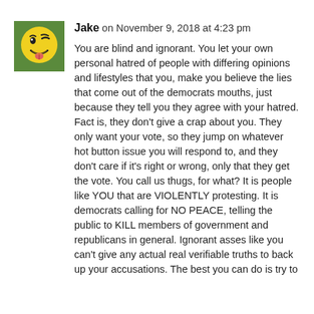[Figure (illustration): A cartoon smiley face avatar with a yellow face, green background, and a tongue sticking out]
Jake on November 9, 2018 at 4:23 pm
You are blind and ignorant. You let your own personal hatred of people with differing opinions and lifestyles that you, make you believe the lies that come out of the democrats mouths, just because they tell you they agree with your hatred. Fact is, they don't give a crap about you. They only want your vote, so they jump on whatever hot button issue you will respond to, and they don't care if it's right or wrong, only that they get the vote. You call us thugs, for what? It is people like YOU that are VIOLENTLY protesting. It is democrats calling for NO PEACE, telling the public to KILL members of government and republicans in general. Ignorant asses like you can't give any actual real verifiable truths to back up your accusations. The best you can do is try to